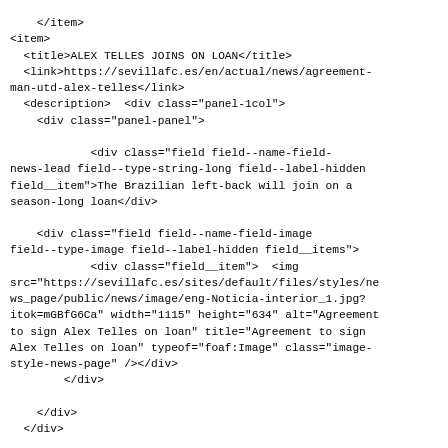</item>
<item>
  <title>ALEX TELLES JOINS ON LOAN</title>
  <link>https://sevillafc.es/en/actual/news/agreement-man-utd-alex-telles</link>
  <description>  &lt;div class="panel-1col"&gt;
    &lt;div class="panel-panel"&gt;

            &lt;div class="field field--name-field-news-lead field--type-string-long field--label-hidden field__item"&gt;The Brazilian left-back will join on a season-long loan&lt;/div&gt;

    &lt;div class="field field--name-field-image field--type-image field--label-hidden field__items"&gt;
            &lt;div class="field__item"&gt;  &lt;img src="https://sevillafc.es/sites/default/files/styles/news_page/public/news/image/eng-Noticia-interior_1.jpg?itok=mGBfG6Ca" width="1115" height="634" alt="Agreement to sign Alex Telles on loan" title="Agreement to sign Alex Telles on loan" typeof="foaf:Image" class="image-style-news-page" /&gt;&lt;/div&gt;
        &lt;/div&gt;

    &lt;/div&gt;
  &lt;/div&gt;


</description>
  <pubDate>Tue, 02 Aug 2022 15:20:58 +0000</pubDate>